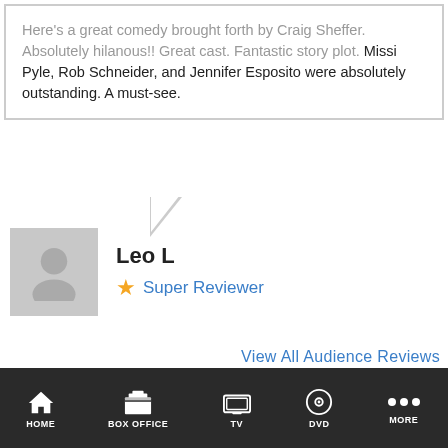Here's a great comedy brought forth by Craig Sheffer. Absolutely hilanous!! Great cast. Fantastic story plot. Missi Pyle, Rob Schneider, and Jennifer Esposito were absolutely outstanding. A must-see.
Leo L
★ Super Reviewer
View All Audience Reviews
AMERICAN CRUDE QUOTES
There are no approved quotes yet for this movie.
NEWS & FEATURES
[Figure (screenshot): Mobile app navigation bar with Home, Box Office, TV, DVD, More icons on dark background]
[Figure (photo): Two movie/news thumbnail images partially visible at bottom of page]